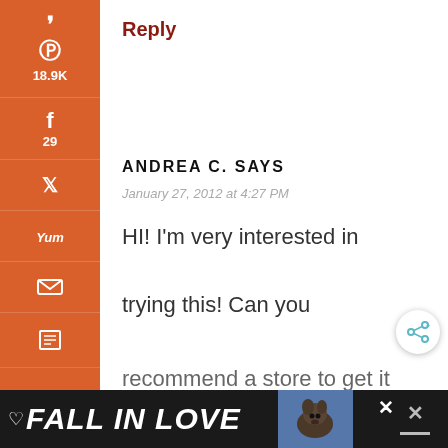[Figure (infographic): Social media share sidebar with Pinterest (18.9K), Facebook (29), Twitter, Yummly, Email, and Print icons on an orange background]
Reply
ANDREA C. SAYS
January 27, 2012 at 4:27 PM
HI! I'm very interested in trying this! Can you recommend a store to get it
19.0K SHARES
[Figure (infographic): FALL IN LOVE advertisement banner at bottom with dog image]